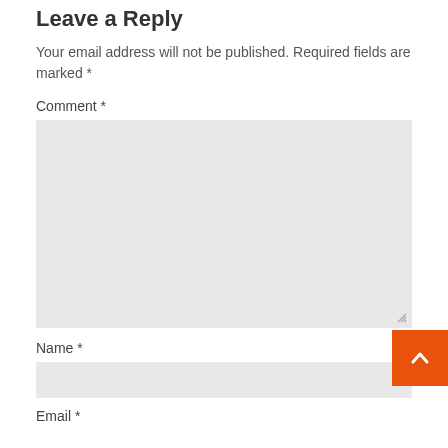Leave a Reply
Your email address will not be published. Required fields are marked *
Comment *
[Figure (other): Large empty textarea input box with resize handle at bottom right]
Name *
[Figure (other): Single-line text input box for Name field]
Email *
[Figure (other): Orange back-to-top button with upward chevron arrow icon]